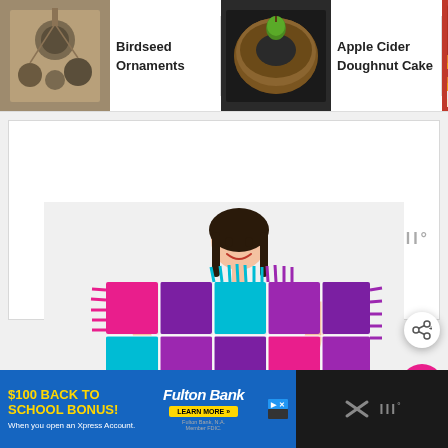[Figure (screenshot): Website navigation strip with thumbnails: Birdseed Ornaments, Apple Cider Doughnut Cake, Sheet Pan Tacos]
Birdseed Ornaments
Apple Cider Doughnut Cake
Sheet Pan Tacos
[Figure (photo): A smiling girl holding a colorful patchwork fleece quilt in pink, purple, and teal, with fringed edges]
[Figure (screenshot): Advertisement banner: $100 Back to School Bonus when you open an Xpress Account, Fulton Bank, Learn More button]